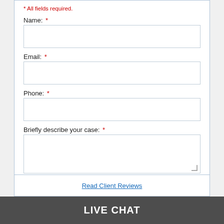* All fields required.
Name: *
Email: *
Phone: *
Briefly describe your case: *
SUBMIT
Read Client Reviews
LIVE CHAT